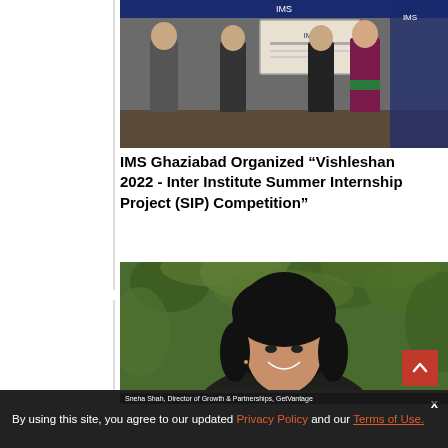[Figure (photo): Group photo of people at a ceremony, holding a large cheque at IMS event]
IMS Ghaziabad Organized “Vishleshan 2022 - Inter Institute Summer Internship Project (SIP) Competition”
[Figure (photo): Portrait photo of Sneha Shah, Director of Growth & Partnerships, GetVantage, smiling outdoors with green foliage background]
Sneha Shah, Director of Growth & Partnerships, GetVantage
By using this site, you agree to our updated Privacy Policy and our Terms of Use.